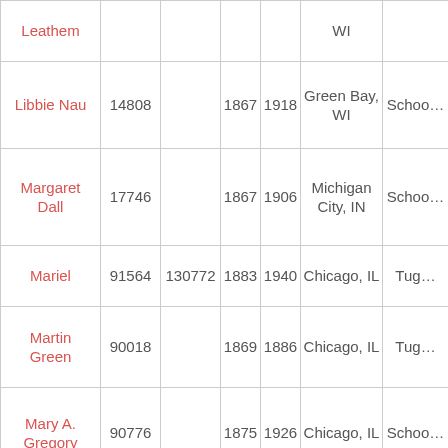| Name | ID1 | ID2 | Year1 | Year2 | Location | Type |
| --- | --- | --- | --- | --- | --- | --- |
| Leathem |  |  |  |  | WI |  |
| Libbie Nau | 14808 |  | 1867 | 1918 | Green Bay, WI | Schoo… |
| Margaret Dall | 17746 |  | 1867 | 1906 | Michigan City, IN | Schoo… |
| Mariel | 91564 | 130772 | 1883 | 1940 | Chicago, IL | Tug… |
| Martin Green | 90018 |  | 1869 | 1886 | Chicago, IL | Tug… |
| Mary A. Gregory | 90776 |  | 1875 | 1926 | Chicago, IL | Schoo… |
| M. C. | 91228 |  | 1880 | 1909 | Fort Howard, | Sidewhe… |